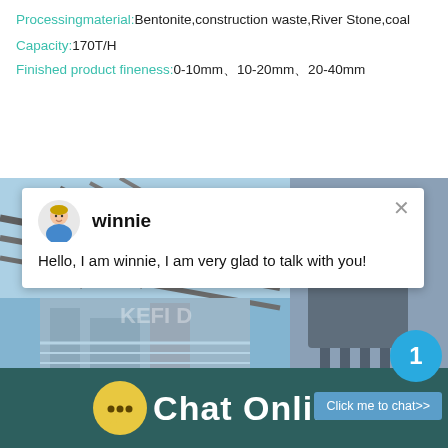Processingmaterial: Bentonite,construction waste,River Stone,coal
Capacity: 170T/H
Finished product fineness: 0-10mm、10-20mm、20-40mm
[Figure (screenshot): Chat widget popup showing agent 'winnie' with message 'Hello, I am winnie, I am very glad to talk with you!' overlaid on an industrial machinery/construction site photo. A blue notification badge shows '1' and a 'Click me to chat>>' button is visible.]
Chat Online